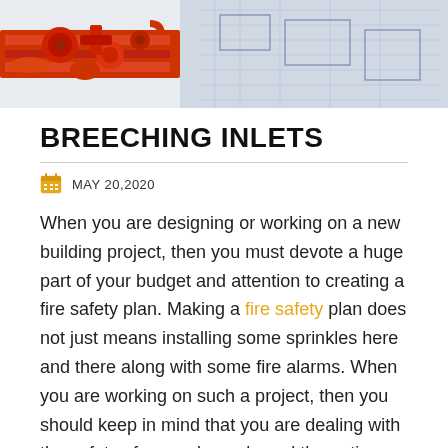[Figure (photo): Photo of red fire sprinkler pipe fittings and connectors on a white architectural blueprint background]
BREECHING INLETS
MAY 20,2020
When you are designing or working on a new building project, then you must devote a huge part of your budget and attention to creating a fire safety plan. Making a fire safety plan does not just means installing some sprinkles here and there along with some fire alarms. When you are working on such a project, then you should keep in mind that you are dealing with the safety of several people and the entire business. No one